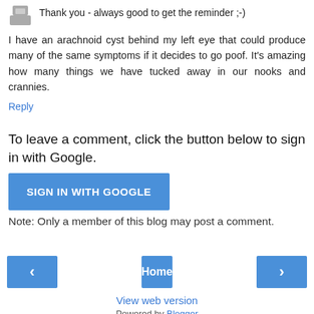Thank you - always good to get the reminder ;-)
I have an arachnoid cyst behind my left eye that could produce many of the same symptoms if it decides to go poof. It's amazing how many things we have tucked away in our nooks and crannies.
Reply
To leave a comment, click the button below to sign in with Google.
SIGN IN WITH GOOGLE
Note: Only a member of this blog may post a comment.
‹
Home
›
View web version
Powered by Blogger